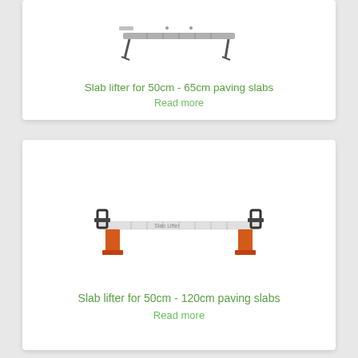[Figure (photo): Slab lifter tool for 50cm-65cm paving slabs - a long horizontal bar with pointed feet, metallic grey]
Slab lifter for 50cm - 65cm paving slabs
Read more
[Figure (photo): Slab lifter tool for 50cm-120cm paving slabs - a long horizontal bar with orange/red feet and black handles at each end]
Slab lifter for 50cm - 120cm paving slabs
Read more